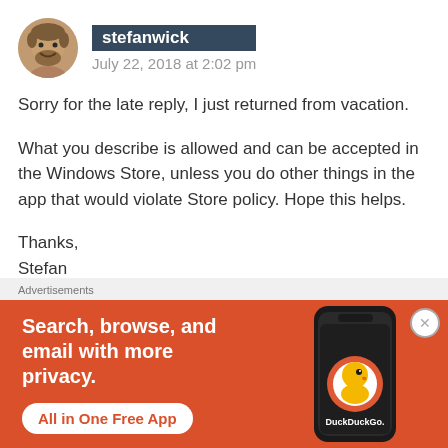stefanwick — July 22, 2018 at 2:02 pm
Sorry for the late reply, I just returned from vacation.
What you describe is allowed and can be accepted in the Windows Store, unless you do other things in the app that would violate Store policy. Hope this helps.
Thanks,
Stefan
Advertisements
[Figure (infographic): DuckDuckGo advertisement banner with orange background. Left side shows bold white text: 'Search, browse, and email with more privacy.' with a white rounded button 'All in One Free App'. Right side shows a dark smartphone with the DuckDuckGo duck logo and 'DuckDuckGo.' text below.]